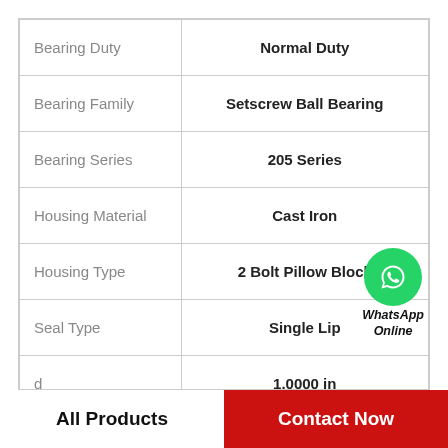| Property | Value |
| --- | --- |
| Bearing Duty | Normal Duty |
| Bearing Family | Setscrew Ball Bearing |
| Bearing Series | 205 Series |
| Housing Material | Cast Iron |
| Housing Type | 2 Bolt Pillow Block |
| Seal Type | Single Lip |
| d | 1.0000 in |
| Anti-Rotation Pin | Yes |
All Products
Contact Now